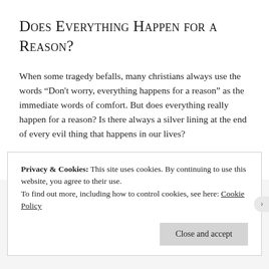Does Everything Happen for a Reason?
When some tragedy befalls, many christians always use the words “Don't worry, everything happens for a reason” as the immediate words of comfort. But does everything really happen for a reason? Is there always a silver lining at the end of every evil thing that happens in our lives?
June 18, 2015 in talking thursday, talking thursdays.
Privacy & Cookies: This site uses cookies. By continuing to use this website, you agree to their use.
To find out more, including how to control cookies, see here: Cookie Policy
Close and accept